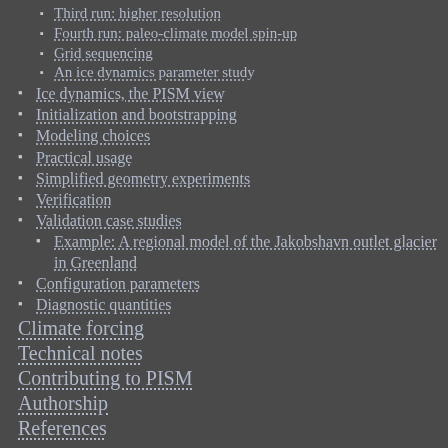Third run: higher resolution
Fourth run: paleo-climate model spin-up
Grid sequencing
An ice dynamics parameter study
Ice dynamics, the PISM view
Initialization and bootstrapping
Modeling choices
Practical usage
Simplified geometry experiments
Verification
Validation case studies
Example: A regional model of the Jakobshavn outlet glacier in Greenland
Configuration parameters
Diagnostic quantities
Climate forcing
Technical notes
Contributing to PISM
Authorship
References